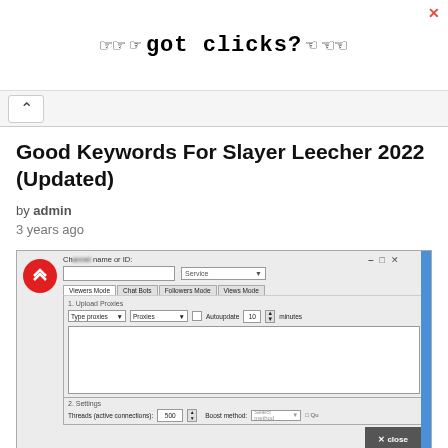[Figure (screenshot): Advertisement banner with pixel-art pointing hands and text 'got clicks?' with an X close button]
[Figure (screenshot): Browser navigation bar with back arrow button]
Good Keywords For Slayer Leecher 2022 (Updated)
by admin
3 years ago
[Figure (screenshot): Slayer Leecher software interface showing Viewers Mode tab selected, Upload Proxies section with Type proxies dropdown, Proxies dropdown, Autoupdate checkbox, and a large textarea. Bottom shows Settings section with Threads active connections: 500 and Boost method fields.]